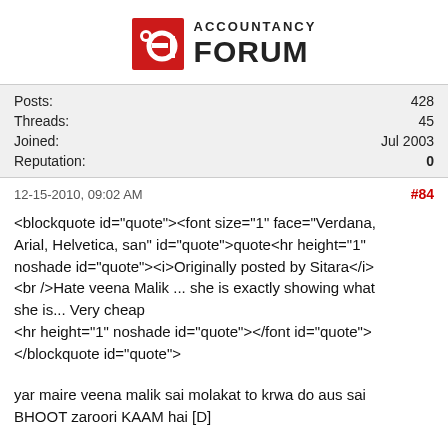[Figure (logo): Accountancy Forum logo with red stylized 'a' icon and bold text 'ACCOUNTANCY FORUM']
| Posts: | 428 |
| Threads: | 45 |
| Joined: | Jul 2003 |
| Reputation: | 0 |
12-15-2010, 09:02 AM   #84
<blockquote id="quote"><font size="1" face="Verdana, Arial, Helvetica, san" id="quote">quote<hr height="1" noshade id="quote"><i>Originally posted by Sitara</i><br />Hate veena Malik ... she is exactly showing what she is... Very cheap
<hr height="1" noshade id="quote"></font id="quote">
</blockquote id="quote">
yar maire veena malik sai molakat to krwa do aus sai BHOOT zaroori KAAM hai [D]